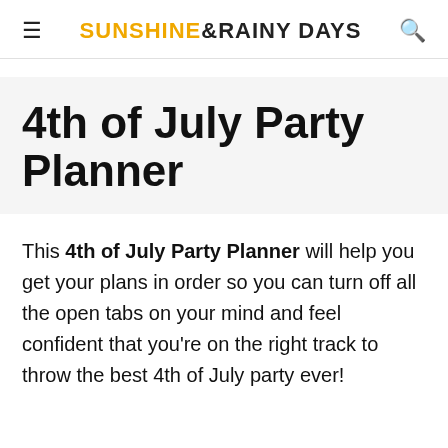≡  SUNSHINE & RAINY DAYS  🔍
4th of July Party Planner
This 4th of July Party Planner will help you get your plans in order so you can turn off all the open tabs on your mind and feel confident that you're on the right track to throw the best 4th of July party ever!